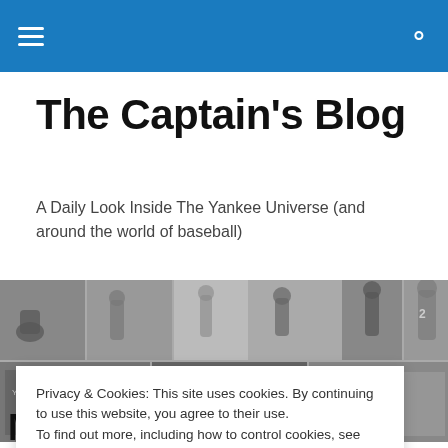The Captain's Blog — navigation bar
The Captain's Blog
A Daily Look Inside The Yankee Universe (and around the world of baseball)
[Figure (photo): Black and white photo collage of baseball players, Yankee Stadium exteriors, and stadium scenes]
Privacy & Cookies: This site uses cookies. By continuing to use this website, you agree to their use.
To find out more, including how to control cookies, see here: Cookie Policy
Close and accept
Matchups: Rangers vs.